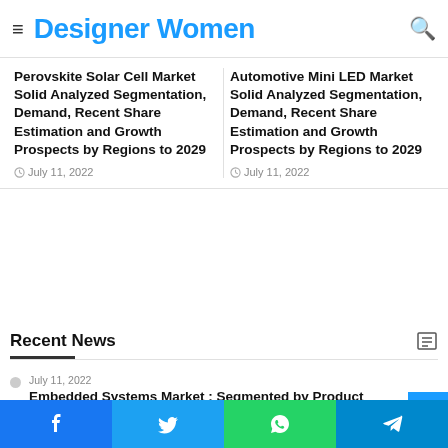Designer Women
Industrial Growth 2022-2029
Industrial Growth 2022-2029
Perovskite Solar Cell Market Solid Analyzed Segmentation, Demand, Recent Share Estimation and Growth Prospects by Regions to 2029
July 11, 2022
Automotive Mini LED Market Solid Analyzed Segmentation, Demand, Recent Share Estimation and Growth Prospects by Regions to 2029
July 11, 2022
Recent News
July 11, 2022
Embedded Systems Market : Segmented by Product